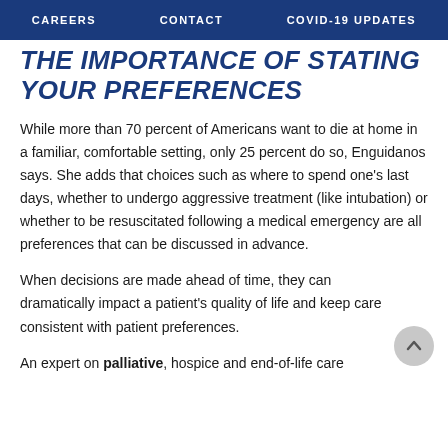CAREERS   CONTACT   COVID-19 UPDATES
THE IMPORTANCE OF STATING YOUR PREFERENCES
While more than 70 percent of Americans want to die at home in a familiar, comfortable setting, only 25 percent do so, Enguidanos says. She adds that choices such as where to spend one's last days, whether to undergo aggressive treatment (like intubation) or whether to be resuscitated following a medical emergency are all preferences that can be discussed in advance.
When decisions are made ahead of time, they can dramatically impact a patient's quality of life and keep care consistent with patient preferences.
An expert on palliative, hospice and end-of-life care